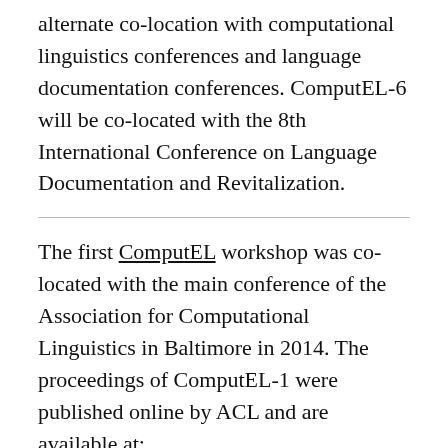alternate co-location with computational linguistics conferences and language documentation conferences. ComputEL-6 will be co-located with the 8th International Conference on Language Documentation and Revitalization.
The first ComputEL workshop was co-located with the main conference of the Association for Computational Linguistics in Baltimore in 2014. The proceedings of ComputEL-1 were published online by ACL and are available at: https://www.aclweb.org/anthology/W14-2200.pdf
The second ComputEL workshop, ComputEL-2, was co-located with the 5th International Conference of Language Documentation and Conservation (ICLDC5) in Honolulu, Hawai'i, in March 2017. The proceedings of